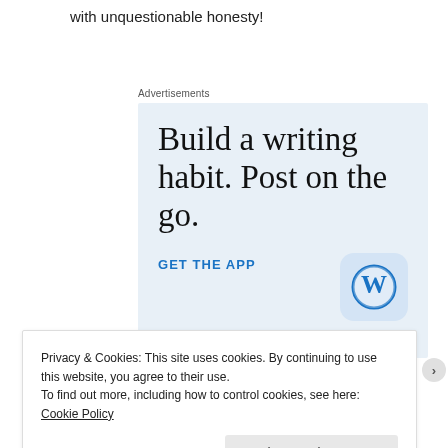with unquestionable honesty!
Advertisements
[Figure (other): WordPress app advertisement banner with large serif text 'Build a writing habit. Post on the go.' and a 'GET THE APP' call to action link, with WordPress logo icon.]
Privacy & Cookies: This site uses cookies. By continuing to use this website, you agree to their use.
To find out more, including how to control cookies, see here: Cookie Policy
Close and accept